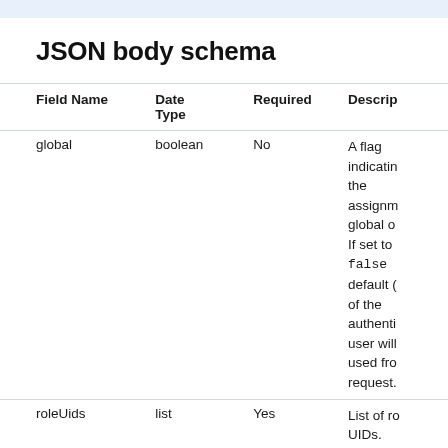JSON body schema
| Field Name | Date Type | Required | Descrip |
| --- | --- | --- | --- |
| global | boolean | No | A flag indicatin the assignm global o If set to false default ( of the authenti user will used fro request. |
| roleUids | list | Yes | List of ro UIDs.
Specify whether hidden + |